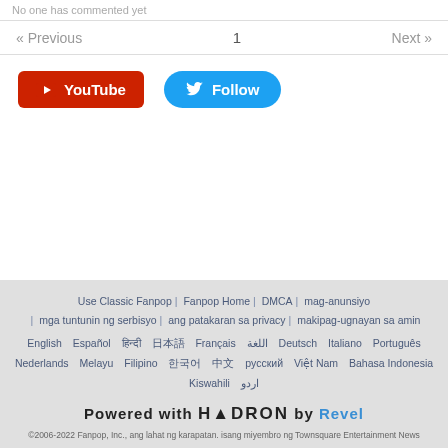No one has commented yet
« Previous   1   Next »
[Figure (other): YouTube button (red) and Follow button (blue/Twitter)]
Use Classic Fanpop | Fanpop Home | DMCA | mag-anunsiyo | mga tuntunin ng serbisyo | ang patakaran sa privacy | makipag-ugnayan sa amin
English  Español  हिन्दी  日本語  Français  اللغة  Deutsch  Italiano  Português  Nederlands  Melayu  Filipino  한국어  中文  русский  Việt Nam  Bahasa Indonesia  Kiswahili  اردو
Powered with HADRON by Revel
©2006-2022 Fanpop, Inc., ang lahat ng karapatan. isang miyembro ng Townsquare Entertainment News